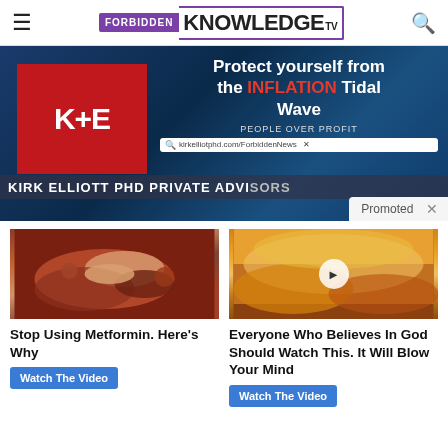FORBIDDEN KNOWLEDGE TV
[Figure (screenshot): Advertisement banner for Kirk Elliott PHD Private Advisors. Shows K+E logo in red box, text 'Protect yourself from the INFLATION Tidal Wave', 'PEOPLE OVER PROFIT', search bar with kirkelliotphd.com/ForbiddenNews, and 'KIRK ELLIOTT PHD PRIVATE ADVISORS' at bottom with 'Promoted' label.]
[Figure (photo): Medical image showing internal organs, possibly intestines or digestive system, in red and tan tones.]
Stop Using Metformin. Here's Why
Watch The Video
[Figure (photo): Dramatic sky image with orange and golden clouds, with a play button overlay indicating a video.]
Everyone Who Believes In God Should Watch This. It Will Blow Your Mind
Watch The Video